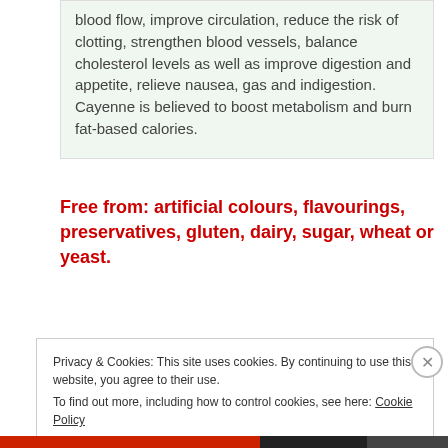blood flow, improve circulation, reduce the risk of clotting, strengthen blood vessels, balance cholesterol levels as well as improve digestion and appetite, relieve nausea, gas and indigestion. Cayenne is believed to boost metabolism and burn fat-based calories.
Free from: artificial colours, flavourings, preservatives, gluten, dairy, sugar, wheat or yeast.
Privacy & Cookies: This site uses cookies. By continuing to use this website, you agree to their use.
To find out more, including how to control cookies, see here: Cookie Policy
Close and accept